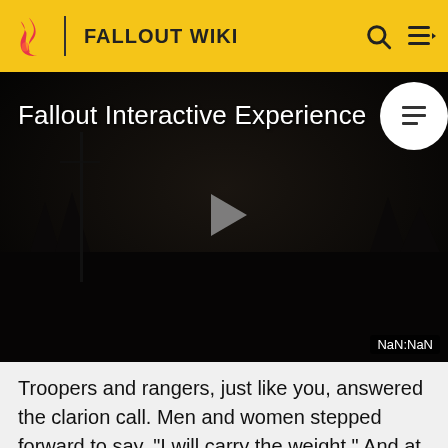FALLOUT WIKI
[Figure (screenshot): Dark video player showing 'Fallout Interactive Experience' title, play button in center, and NaN:NaN time display in bottom right corner. Top right shows a circular icon with a document/list symbol.]
Troopers and rangers, just like you, answered the clarion call. Men and women stepped forward to say, "I will carry the weight." And at Owen's Lake, we made true on our promise, driving out the raider tribes to establish a lasting peace in the eastern Sierra Nevadas. We carried the